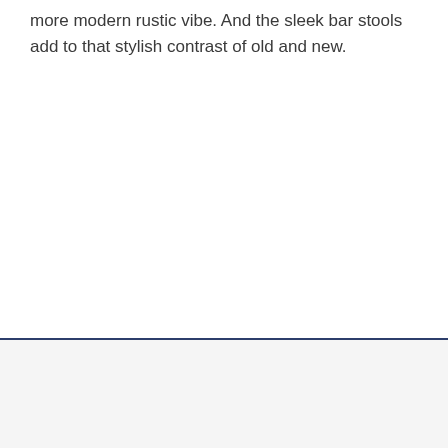more modern rustic vibe. And the sleek bar stools add to that stylish contrast of old and new.
[Figure (other): A bottom banner/overlay element with a dark blue top border on a light gray background, featuring a circular close button (X) in the top-right corner.]